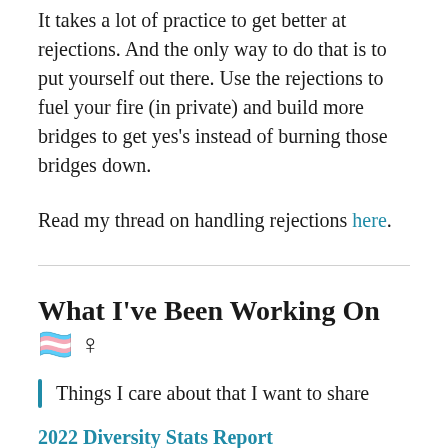It takes a lot of practice to get better at rejections. And the only way to do that is to put yourself out there. Use the rejections to fuel your fire (in private) and build more bridges to get yes's instead of burning those bridges down.
Read my thread on handling rejections here.
What I've Been Working On 🏳️‍⚧️ ♀
Things I care about that I want to share
2022 Diversity Stats Report
Overlooked Ventures published our February Diversity Stats Report earlier this month. We receive applications